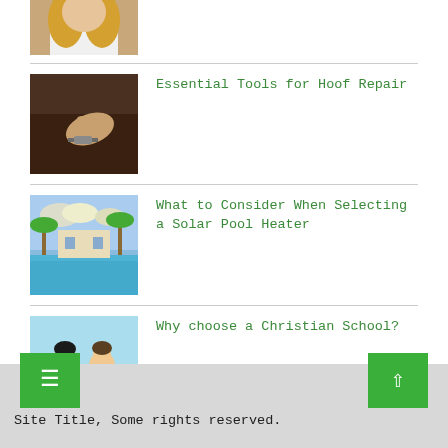[Figure (photo): Partial view of a person with long blonde hair, white top — top of page, cropped]
Essential Tools for Hoof Repair
[Figure (photo): Person's hands working on a hoof repair task]
What to Consider When Selecting a Solar Pool Heater
[Figure (photo): Outdoor pool area with palm trees and blue sky]
Why choose a Christian School?
[Figure (photo): Two students sitting together outdoors, one looking at screen]
Site Title, Some rights reserved.